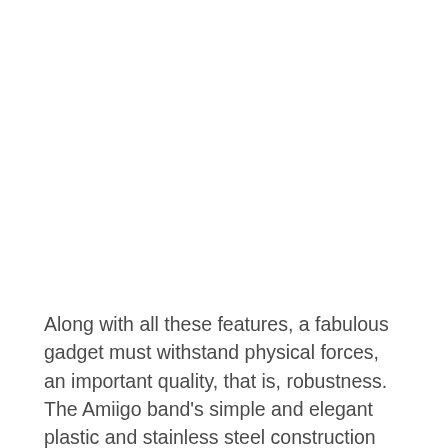Along with all these features, a fabulous gadget must withstand physical forces, an important quality, that is, robustness. The Amiigo band's simple and elegant plastic and stainless steel construction belies its suite of complex functions. Amiigo comes in three sizes to accommodate different wrist circumferences; each